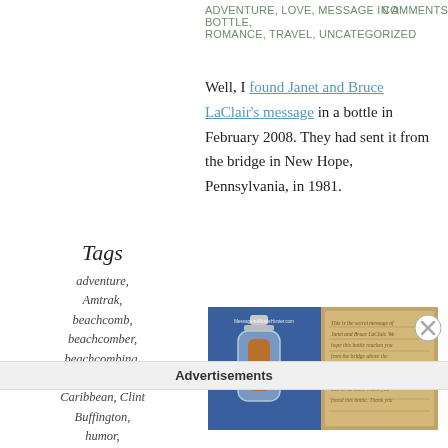Adventure, Love, message in a bottle, Romance, Travel, Uncategorized
Comments
Well, I found Janet and Bruce LaClair's message in a bottle in February 2008. They had sent it from the bridge in New Hope, Pennsylvania, in 1981.
Tags
adventure,
Amtrak,
beachcomb,
beachcomber,
beachcombing,
Buffington,
Caribbean, Clint Buffington,
humor,
illustration, love,
message in a
[Figure (photo): Two-panel photo: left shows a glass bottle with a rolled-up paper message inside, against a blue background with text 'MessageInABottleHunter.com'; right shows the aged, handwritten note spread open.]
Advertisements